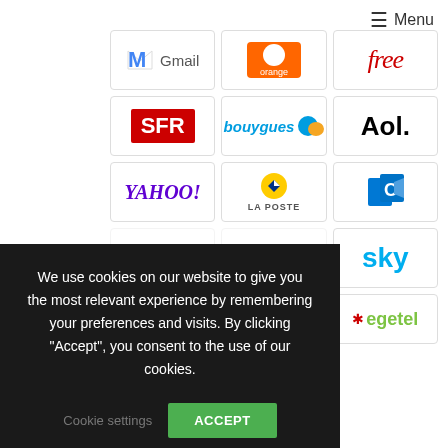[Figure (screenshot): Menu icon (hamburger) and Menu text in top right]
[Figure (screenshot): Grid of email provider logos: Gmail, Orange, Free, SFR, Bouygues, AOL, Yahoo, La Poste, Outlook, Sky, Cegetel]
We use cookies on our website to give you the most relevant experience by remembering your preferences and visits. By clicking "Accept", you consent to the use of our cookies.
Cookie settings
ACCEPT